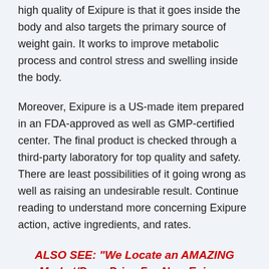high quality of Exipure is that it goes inside the body and also targets the primary source of weight gain. It works to improve metabolic process and control stress and swelling inside the body.
Moreover, Exipure is a US-made item prepared in an FDA-approved as well as GMP-certified center. The final product is checked through a third-party laboratory for top quality and safety. There are least possibilities of it going wrong as well as raising an undesirable result. Continue reading to understand more concerning Exipure action, active ingredients, and rates.
ALSO SEE: “We Locate an AMAZING Market/Door Price For New Exipure